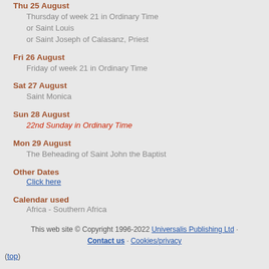Thu 25 August
Thursday of week 21 in Ordinary Time
or Saint Louis
or Saint Joseph of Calasanz, Priest
Fri 26 August
Friday of week 21 in Ordinary Time
Sat 27 August
Saint Monica
Sun 28 August
22nd Sunday in Ordinary Time
Mon 29 August
The Beheading of Saint John the Baptist
Other Dates
Click here
Calendar used
Africa - Southern Africa
This web site © Copyright 1996-2022 Universalis Publishing Ltd · Contact us · Cookies/privacy
(top)